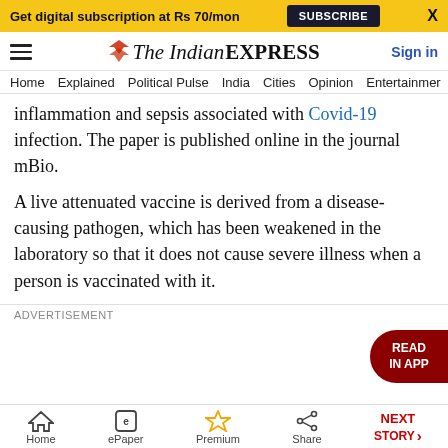Get digital subscription at Rs 70/mon  SUBSCRIBE  X
[Figure (logo): The Indian Express logo with hamburger menu and Sign in link]
Home  Explained  Political Pulse  India  Cities  Opinion  Entertainment
inflammation and sepsis associated with Covid-19 infection. The paper is published online in the journal mBio.
A live attenuated vaccine is derived from a disease-causing pathogen, which has been weakened in the laboratory so that it does not cause severe illness when a person is vaccinated with it.
ADVERTISEMENT
Home  ePaper  Premium  Share  NEXT STORY →